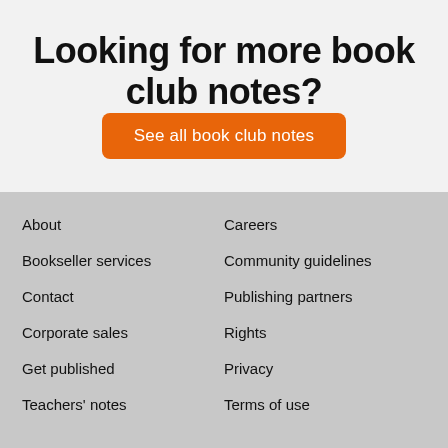Looking for more book club notes?
See all book club notes
About
Bookseller services
Contact
Corporate sales
Get published
Teachers' notes
Careers
Community guidelines
Publishing partners
Rights
Privacy
Terms of use